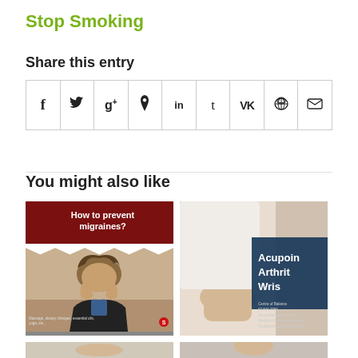Stop Smoking
Share this entry
[Figure (other): Social media sharing icons row: Facebook (f), Twitter (bird), Google+ (g+), Pinterest (p), LinkedIn (in), Tumblr (t), VK (VK), Reddit (alien), Email (envelope)]
You might also like
[Figure (photo): Card showing a man holding his head in pain with text overlay 'How to prevent migraines?' on a dark red torn paper banner, with caption 'Massage, dietary changes, essential oils, yoga, etc...']
[Figure (photo): Card showing a person's wrist being held, with dark blue overlay text 'Acupoin Arthrit Wris' and small text: Centre of Balance, 07 846 7956, www.balanceacm.co.nz, Hamilton-Cambridge-Raglan-Auckland Acupuncture Clinic]
[Figure (photo): Partial bottom-row image cards, partially visible at the bottom of the page]